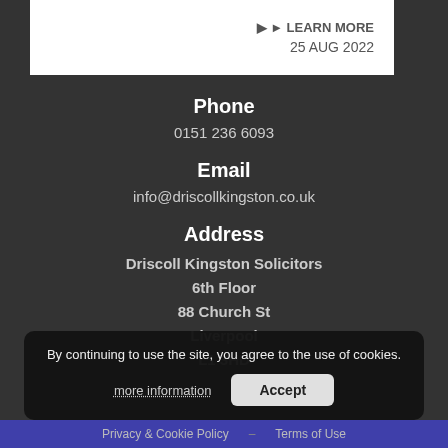[Figure (screenshot): Top portion of a law firm website page showing a learn more link and date 25 AUG 2022 on a white card]
Phone
0151 236 6093
Email
info@driscollkingston.co.uk
Address
Driscoll Kingston Solicitors
6th Floor
88 Church St
Liverpool
L1 3HD
By continuing to use the site, you agree to the use of cookies.
more information
Accept
Privacy & Cookie Policy   Terms of Use